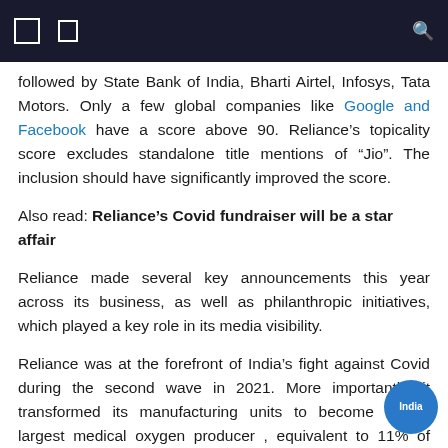[navigation icons] [search icon]
followed by State Bank of India, Bharti Airtel, Infosys, Tata Motors. Only a few global companies like Google and Facebook have a score above 90. Reliance’s topicality score excludes standalone title mentions of “Jio”. The inclusion should have significantly improved the score.
Also read: Reliance’s Covid fundraiser will be a star affair
Reliance made several key announcements this year across its business, as well as philanthropic initiatives, which played a key role in its media visibility.
Reliance was at the forefront of India’s fight against Covid during the second wave in 2021. More importantly, it transformed its manufacturing units to become India’s largest medical oxygen producer , equivalent to 11% of India’s total production. Reliance has provided more than 1,000 tons